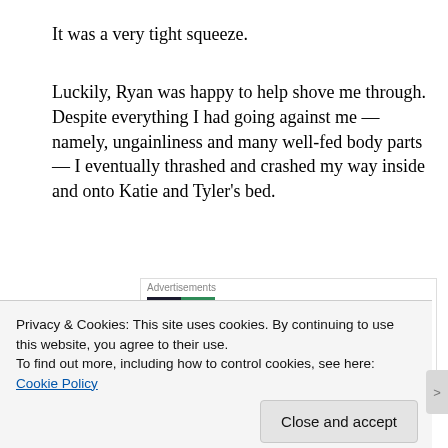It was a very tight squeeze.
Luckily, Ryan was happy to help shove me through. Despite everything I had going against me — namely, ungainliness and many well-fed body parts — I eventually thrashed and crashed my way inside and onto Katie and Tyler's bed.
[Figure (other): Pocket Casts advertisement: 'The go-to app for podcast lovers.' with app icon and brand logo]
Feeling triumphant, I asked Ryan if he'd like to say goodbye
Privacy & Cookies: This site uses cookies. By continuing to use this website, you agree to their use.
To find out more, including how to control cookies, see here: Cookie Policy
Close and accept